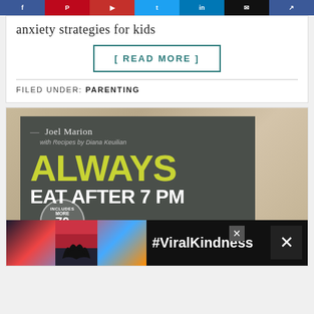anxiety strategies for kids
[ READ MORE ]
FILED UNDER: PARENTING
[Figure (photo): Book cover for 'Always Eat After 7 PM' by Joel Marion with Recipes by Diana Keuilian. Dark gray background with bright yellow-green large text 'ALWAYS' and white text 'EAT AFTER 7 PM'. Includes a badge reading 'INCLUDES MORE THAN 70 RECIPES'. A burger is partially visible at the bottom right.]
[Figure (photo): Advertisement banner at bottom showing a black background with a heart-shape hands silhouette and '#ViralKindness' text, with close buttons.]